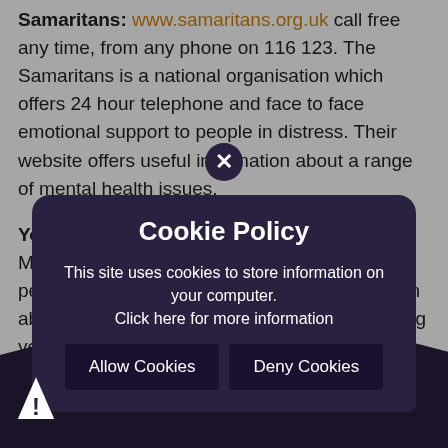Samaritans: www.samaritans.org.uk call free any time, from any phone on 116 123. The Samaritans is a national organisation which offers 24 hour telephone and face to face emotional support to people in distress. Their website offers useful information about a range of mental health issues.
Young Minds: www.youngminds.org.uk Young Minds promotes good mental health for young people. The website has a wealth of information about different mental health conditions affecting young people, including a range of online resources which can be downloaded.
E.S... important. See the Cl... T poster
...pression: Ups and downs are a normal part of life for us, but for someone who is suffering from
[Figure (other): Cookie Policy modal overlay on a dark pentagon/house-shaped background. Modal contains title 'Cookie Policy', body text 'This site uses cookies to store information on your computer. Click here for more information', with two buttons: 'Allow Cookies' and 'Deny Cookies'. A close (x) button appears at the top of the modal. A warning triangle icon appears at bottom-left.]